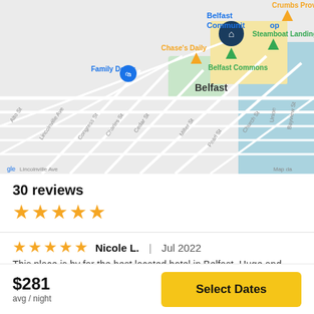[Figure (map): Google Maps screenshot showing Belfast, Maine area with street grid, landmarks including Belfast Community Co-op, Crumbs Provisions, Chase's Daily, Family Dollar, Belfast Commons, Steamboat Landing Pa. Streets visible: Alto St, Lincolnville Ave, Congress St, Charles St, Cedar St, Miller St, Pearl St, Church St, Union St, Bayview St. Map data attribution visible.]
30 reviews
[Figure (other): 5 gold star rating icons]
[Figure (other): 5 gold star rating icons for review]
Nicole L.  |  Jul 2022
This place is by far the best located hotel in Belfast. Huge and
$281
avg / night
Select Dates